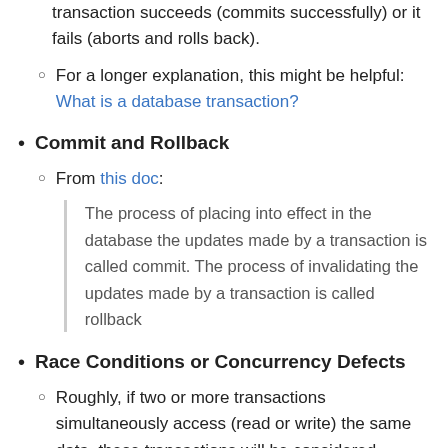transaction succeeds (commits successfully) or it fails (aborts and rolls back).
For a longer explanation, this might be helpful: What is a database transaction?
Commit and Rollback
From this doc: The process of placing into effect in the database the updates made by a transaction is called commit. The process of invalidating the updates made by a transaction is called rollback
Race Conditions or Concurrency Defects
Roughly, if two or more transactions simultaneously access (read or write) the same data, these transactions will be considered concurrent. Based on what operations these transactions perform, the data might...